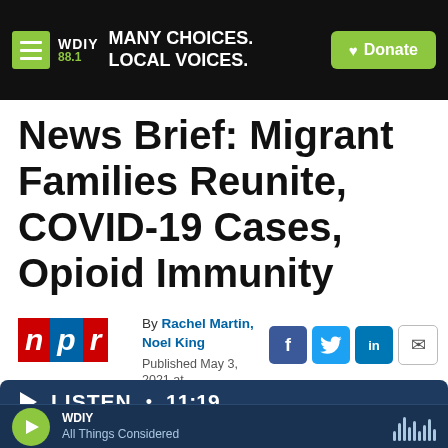WDIY 88.1 | MANY CHOICES. LOCAL VOICES. | Donate
News Brief: Migrant Families Reunite, COVID-19 Cases, Opioid Immunity
By Rachel Martin, Noel King
Published May 3, 2021 at 5:10 AM EDT
[Figure (logo): NPR logo with red, blue, red blocks spelling n p r]
[Figure (infographic): Social share icons: Facebook, Twitter, LinkedIn, Email]
LISTEN • 11:19
WDIY | All Things Considered